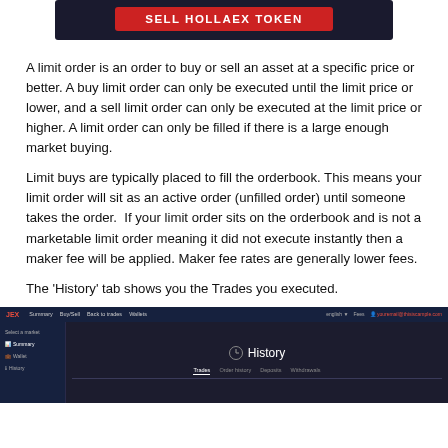[Figure (screenshot): Dark banner with red 'SELL HOLLAEX TOKEN' button on dark navy background]
A limit order is an order to buy or sell an asset at a specific price or better. A buy limit order can only be executed until the limit price or lower, and a sell limit order can only be executed at the limit price or higher. A limit order can only be filled if there is a large enough market buying.
Limit buys are typically placed to fill the orderbook. This means your limit order will sit as an active order (unfilled order) until someone takes the order.  If your limit order sits on the orderbook and is not a marketable limit order meaning it did not execute instantly then a maker fee will be applied. Maker fee rates are generally lower fees.
The 'History' tab shows you the Trades you executed.
[Figure (screenshot): Screenshot of a dark-themed trading platform showing the History tab with sub-tabs: Trades, Order history, Deposits, Withdrawals. Left sidebar shows Summary, Wallet, History navigation items.]